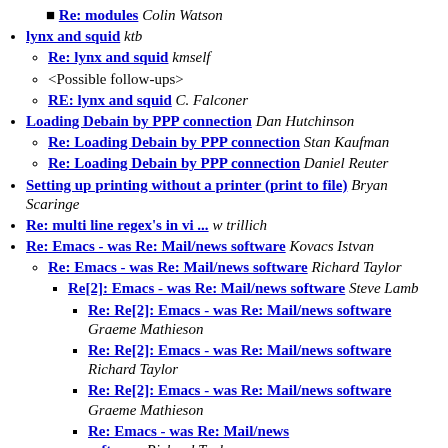Re: modules Colin Watson
lynx and squid ktb
Re: lynx and squid kmself
<Possible follow-ups>
RE: lynx and squid C. Falconer
Loading Debain by PPP connection Dan Hutchinson
Re: Loading Debain by PPP connection Stan Kaufman
Re: Loading Debain by PPP connection Daniel Reuter
Setting up printing without a printer (print to file) Bryan Scaringe
Re: multi line regex's in vi ... w trillich
Re: Emacs - was Re: Mail/news software Kovacs Istvan
Re: Emacs - was Re: Mail/news software Richard Taylor
Re[2]: Emacs - was Re: Mail/news software Steve Lamb
Re: Re[2]: Emacs - was Re: Mail/news software Graeme Mathieson
Re: Re[2]: Emacs - was Re: Mail/news software Richard Taylor
Re: Re[2]: Emacs - was Re: Mail/news software Graeme Mathieson
Re: Emacs - was Re: Mail/news software Richard Taylor (partial)